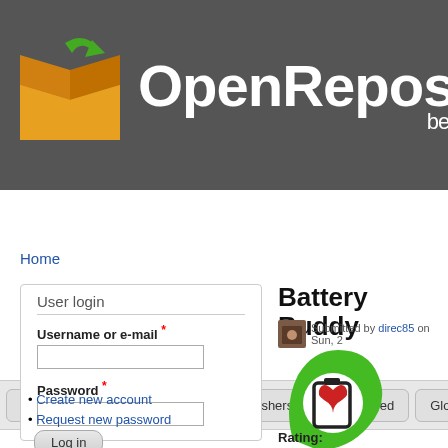[Figure (logo): OpenRepos.beta website header with logo (cardboard box with green arrow) and site name]
[Figure (screenshot): Navigation bar with tabs: About OpenRepos, News, Publishers, Last Added, Global Sta...]
Home
User login
Username or e-mail *
Password *
Create new account
Request new password
Log in
Battery Buddy
Submitted by direc85 on Sun, 2
[Figure (logo): Battery Buddy app icon: green leaf/teardrop shape with white circle containing a battery icon with red heart]
Rating:
[Figure (other): Five star rating icons (filled gold stars)]